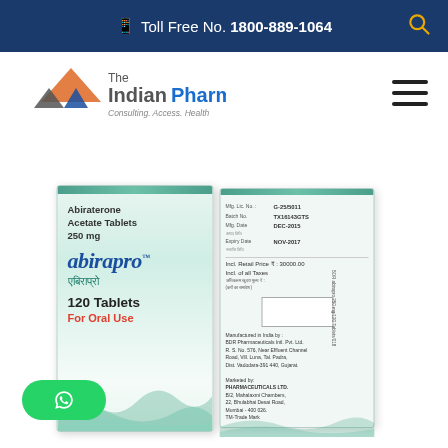Toll Free No. 1800-889-1064
[Figure (logo): The Indian Pharma logo with triangular arrows icon and tagline: Consulting. Access. Health]
[Figure (photo): Abiraterone Acetate Tablets 250mg - abirapro brand medicine box, showing front and back of packaging. Front shows: Abiraterone Acetate Tablets 250 mg, abirapro (brand name in italic), एबिराप्रो (Hindi), 120 Tablets, For Oral Use. Back shows: manufacturing details, batch number, manufacturing and expiry dates, price, manufacturer BDR Pharmaceuticals Intl. Pvt. Ltd., marketed by Pharmaceuticals Ltd., Mumbai.]
[Figure (other): WhatsApp contact button (green rounded button with WhatsApp icon)]